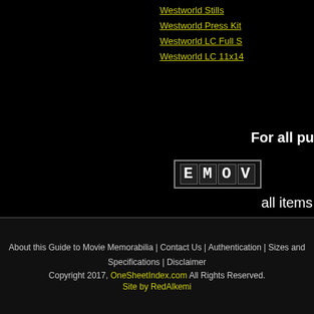Westworld Stills
Westworld Press Kit
Westworld LC Full S
Westworld LC 11x14
For all pur
[Figure (logo): eMoviePoster logo showing EMOV letters in film strip style boxes]
all items
About this Guide to Movie Memorabilia | Contact Us | Authentication | Sizes and Specifications | Disclaimer
Copyright 2017, OneSheetIndex.com All Rights Reserved.
Site by RedAlkemi